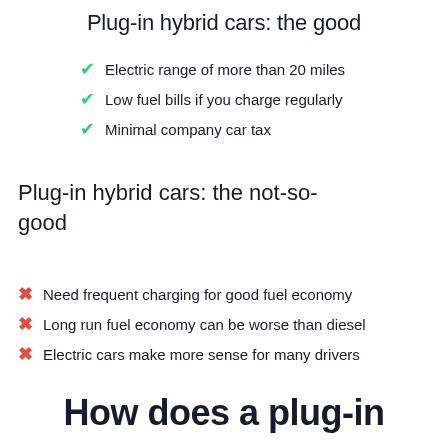Plug-in hybrid cars: the good
Electric range of more than 20 miles
Low fuel bills if you charge regularly
Minimal company car tax
Plug-in hybrid cars: the not-so-good
Need frequent charging for good fuel economy
Long run fuel economy can be worse than diesel
Electric cars make more sense for many drivers
How does a plug-in